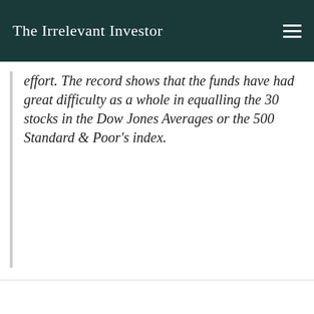The Irrelevant Investor
effort. The record shows that the funds have had great difficulty as a whole in equalling the 30 stocks in the Dow Jones Averages or the 500 Standard & Poor's index.